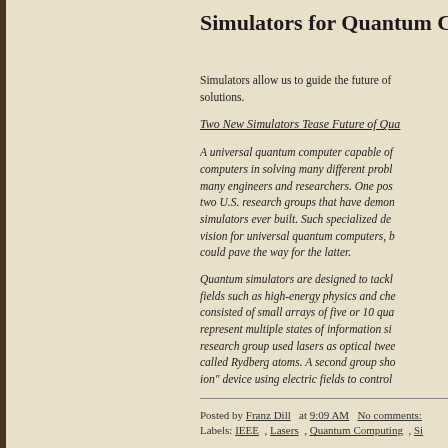Simulators for Quantum C…
Simulators allow us to guide the future of … solutions.
Two New Simulators Tease Future of Qua…
A universal quantum computer capable of … computers in solving many different probl… many engineers and researchers. One pos… two U.S. research groups that have demon… simulators ever built. Such specialized de… vision for universal quantum computers, b… could pave the way for the latter.
Quantum simulators are designed to tackl… fields such as high-energy physics and che… consisted of small arrays of five or 10 qua… represent multiple states of information si… research group used lasers as optical twee… called Rydberg atoms. A second group sha… ion" device using electric fields to control…
Posted by Franz Dill at 9:09 AM No comments:
Labels: IEEE , Lasers , Quantum Computing , Si…